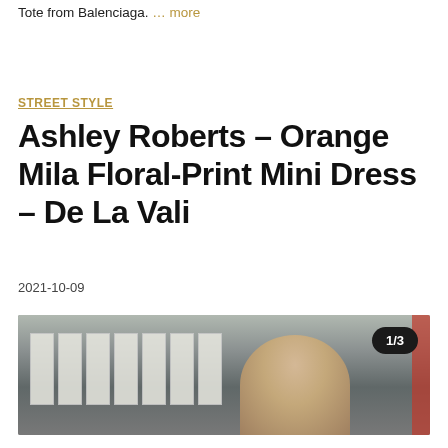Tote from Balenciaga. … more
STREET STYLE
Ashley Roberts – Orange Mila Floral-Print Mini Dress – De La Vali
2021-10-09
[Figure (photo): Street style photo of Ashley Roberts, cropped view showing the top of a blond upswept hairstyle, with a city street background featuring green and white striped shopfront awnings. Badge overlay in upper right reads '1/3'.]